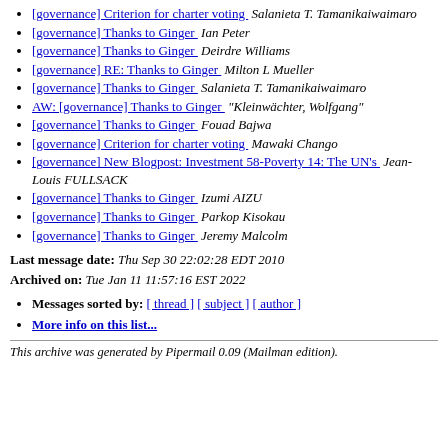[governance] Criterion for charter voting  Salanieta T. Tamanikaiwaimaro
[governance] Thanks to Ginger  Ian Peter
[governance] Thanks to Ginger  Deirdre Williams
[governance] RE: Thanks to Ginger  Milton L Mueller
[governance] Thanks to Ginger  Salanieta T. Tamanikaiwaimaro
AW: [governance] Thanks to Ginger  "Kleinwächter, Wolfgang"
[governance] Thanks to Ginger  Fouad Bajwa
[governance] Criterion for charter voting  Mawaki Chango
[governance] New Blogpost: Investment 58-Poverty 14: The UN's  Jean-Louis FULLSACK
[governance] Thanks to Ginger  Izumi AIZU
[governance] Thanks to Ginger  Parkop Kisokau
[governance] Thanks to Ginger  Jeremy Malcolm
Last message date: Thu Sep 30 22:02:28 EDT 2010
Archived on: Tue Jan 11 11:57:16 EST 2022
Messages sorted by: [ thread ] [ subject ] [ author ]
More info on this list...
This archive was generated by Pipermail 0.09 (Mailman edition).